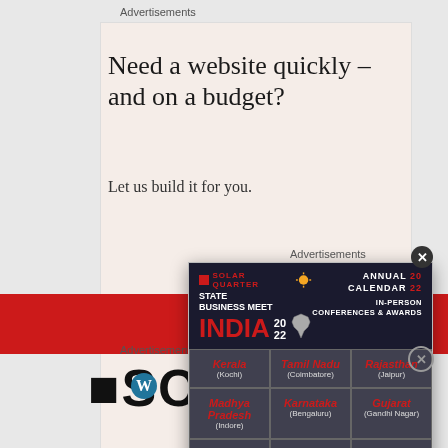Advertisements
[Figure (infographic): Background WordPress advertisement: 'Need a website quickly – and on a budget? Let us build it for you.' with WordPress logo]
Advertisements
[Figure (infographic): Solar Quarter State Business Meet India 2022 popup advertisement showing Annual Calendar 2022, In-Person Conferences & Awards, with grid of Indian states: Kerala (Kochi), Tamil Nadu (Coimbatore), Rajasthan (Jaipur), Madhya Pradesh (Indore), Karnataka (Bengaluru), Gujarat (Gandhi Nagar), Punjab (Chandigarh), Uttarakhand (Dehradun), Maharashtra (Pune). Sponsor & Exhibit contact: sponsor@firstviewgroup.com, 9372788472/7718877514. Solar Quarter South Asia branding.]
Advertisements